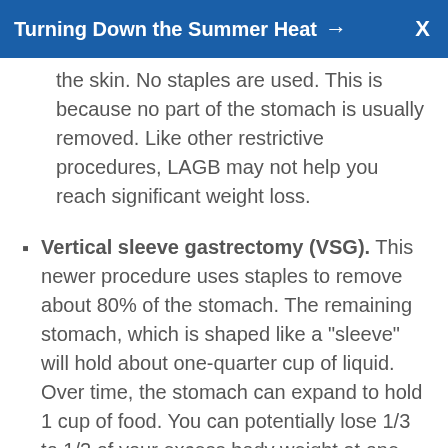Turning Down the Summer Heat →  X
the skin. No staples are used. This is because no part of the stomach is usually removed. Like other restrictive procedures, LAGB may not help you reach significant weight loss.
Vertical sleeve gastrectomy (VSG). This newer procedure uses staples to remove about 80% of the stomach. The remaining stomach, which is shaped like a "sleeve" will hold about one-quarter cup of liquid. Over time, the stomach can expand to hold 1 cup of food. You can potentially lose 1/3 to 1/2 of your excess body weight at one year after surgery. Since the rest of the stomach has been removed, this procedure is not